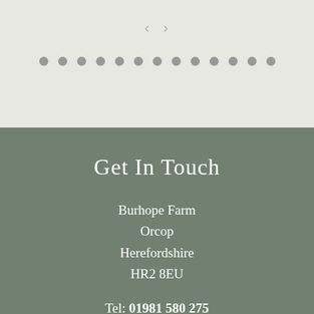[Figure (screenshot): Navigation arrows and dot indicator row on light grey background — part of a website carousel/slider UI]
Get In Touch
Burhope Farm
Orcop
Herefordshire
HR2 8EU
Tel: 01981 580 275
Email:
info@burhopefarmcampsite.co.uk